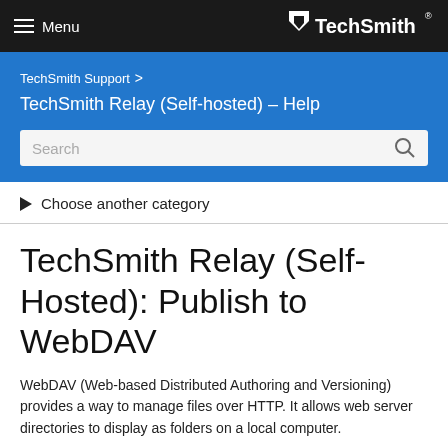Menu | TechSmith®
TechSmith Support > TechSmith Relay (Self-hosted) – Help
Search
▶ Choose another category
TechSmith Relay (Self-Hosted): Publish to WebDAV
WebDAV (Web-based Distributed Authoring and Versioning) provides a way to manage files over HTTP. It allows web server directories to display as folders on a local computer.